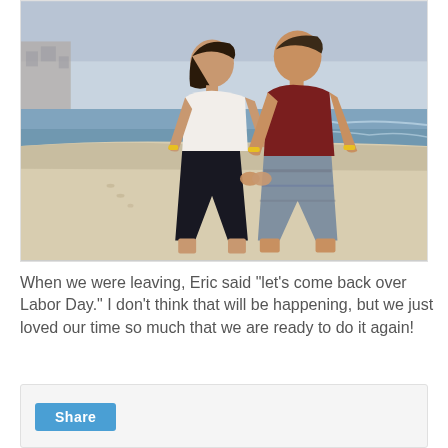[Figure (photo): A couple standing on a beach at dusk. The woman on the left wears a white sleeveless top and black pants with a yellow wristband. The man on the right wears a dark red/maroon t-shirt and striped shorts with a yellow wristband. Ocean and sandy beach visible in background with buildings in the far left.]
When we were leaving, Eric said "let's come back over Labor Day." I don't think that will be happening, but we just loved our time so much that we are ready to do it again!
[Figure (screenshot): A share button (light blue/cyan colored button labeled 'Share') on a light grey background panel at the bottom of the page.]